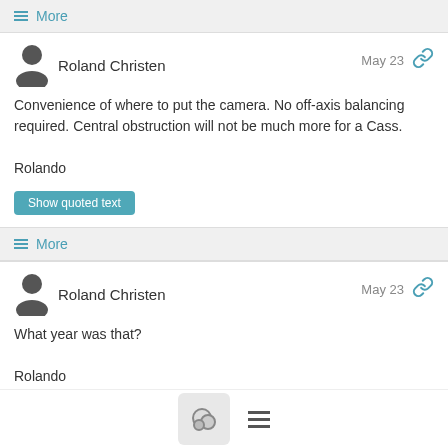≡ More
Roland Christen  May 23
Convenience of where to put the camera. No off-axis balancing required. Central obstruction will not be much more for a Cass.

Rolando
Show quoted text
≡ More
Roland Christen  May 23
What year was that?

Rolando
Show quoted text